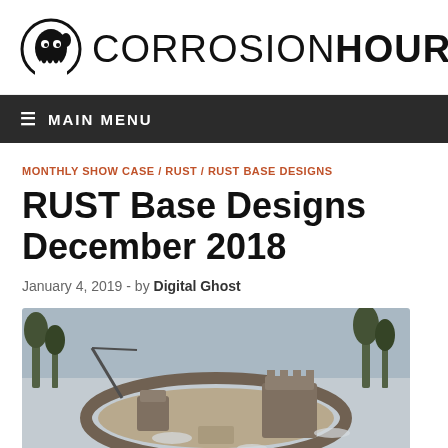[Figure (logo): Corrosion Hour logo with circular ghost icon and text CORROSIONHOUR]
≡ MAIN MENU
MONTHLY SHOW CASE / RUST / RUST BASE DESIGNS
RUST Base Designs December 2018
January 4, 2019  -  by Digital Ghost
[Figure (screenshot): Aerial view of a RUST game base design in snowy environment showing circular stone walls and building structures]